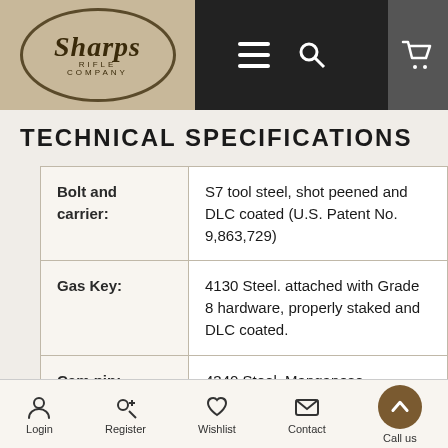[Figure (logo): Sharps Rifle Company logo in oval on dark navigation bar with menu, search, and cart icons]
TECHNICAL SPECIFICATIONS
|  |  |
| --- | --- |
| Bolt and carrier: | S7 tool steel, shot peened and DLC coated (U.S. Patent No. 9,863,729) |
| Gas Key: | 4130 Steel. attached with Grade 8 hardware, properly staked and DLC coated. |
| Cam pin: | 4340 Steel, Manganese Phosphate coated |
| Firing pin: | Mil spec made of 8740 Steel, |
Login  Register  Wishlist  Contact  Call us